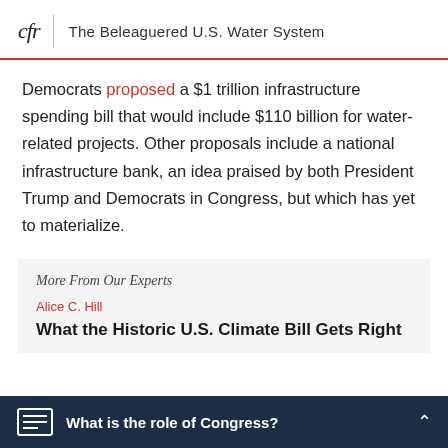cfr | The Beleaguered U.S. Water System
Democrats proposed a $1 trillion infrastructure spending bill that would include $110 billion for water-related projects. Other proposals include a national infrastructure bank, an idea praised by both President Trump and Democrats in Congress, but which has yet to materialize.
More From Our Experts
Alice C. Hill
What the Historic U.S. Climate Bill Gets Right
What is the role of Congress?